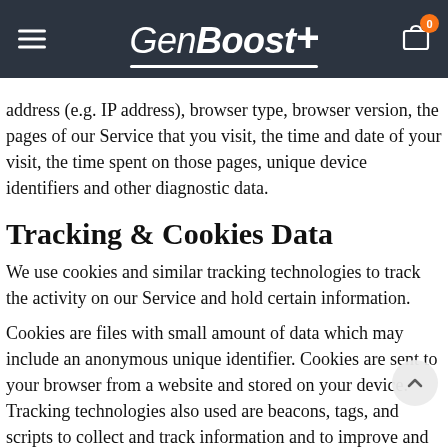GenBoost
address (e.g. IP address), browser type, browser version, the pages of our Service that you visit, the time and date of your visit, the time spent on those pages, unique device identifiers and other diagnostic data.
Tracking & Cookies Data
We use cookies and similar tracking technologies to track the activity on our Service and hold certain information.
Cookies are files with small amount of data which may include an anonymous unique identifier. Cookies are sent to your browser from a website and stored on your device. Tracking technologies also used are beacons, tags, and scripts to collect and track information and to improve and analyze our Service.
You can instruct your browser to refuse all cookies or to